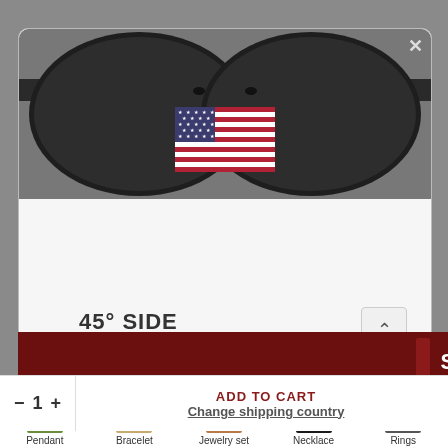[Figure (screenshot): E-commerce product page screenshot showing sunglasses with a modal dialog overlay. The modal shows a US flag, shipping info for United States, product specs (GREY frame, GREY lenses, G15), bullet points for USD and shipping options, and a Shop Now button. Below the modal are quantity selector, Add to Cart, Change shipping country, and bottom navigation with Pendant, Bracelet, Jewelry set, Necklace, Rings categories.]
Gofaer Finds store! ships to United States
GREY | GREY | G15
Shop in USD $
Get shipping options for United States
45° SIDE
Shop now
ADD TO CART
Change shipping country
Pendant
Bracelet
Jewelry set
Necklace
Rings